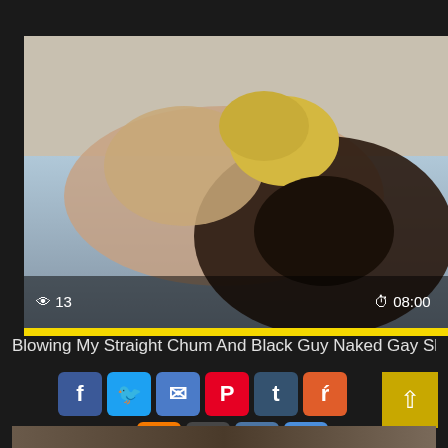[Figure (screenshot): Video thumbnail showing two people on a couch with view count 13 and duration 08:00 overlay, yellow progress bar at bottom]
Blowing My Straight Chum And Black Guy Naked Gay Slowly The
[Figure (infographic): Social media share buttons: Facebook, Twitter, Email, Pinterest, Tumblr, Reddit, Blogger, WordPress, VK, Plus; and an up/back-to-top arrow button]
[Figure (photo): Partial thumbnail image at bottom of page]